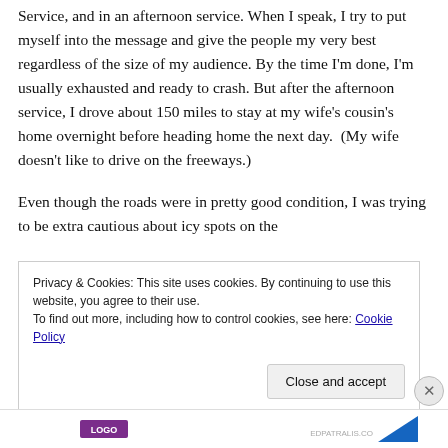Service, and in an afternoon service. When I speak, I try to put myself into the message and give the people my very best regardless of the size of my audience. By the time I'm done, I'm usually exhausted and ready to crash. But after the afternoon service, I drove about 150 miles to stay at my wife's cousin's home overnight before heading home the next day.  (My wife doesn't like to drive on the freeways.)
Even though the roads were in pretty good condition, I was trying to be extra cautious about icy spots on the
Privacy & Cookies: This site uses cookies. By continuing to use this website, you agree to their use.
To find out more, including how to control cookies, see here: Cookie Policy
Close and accept